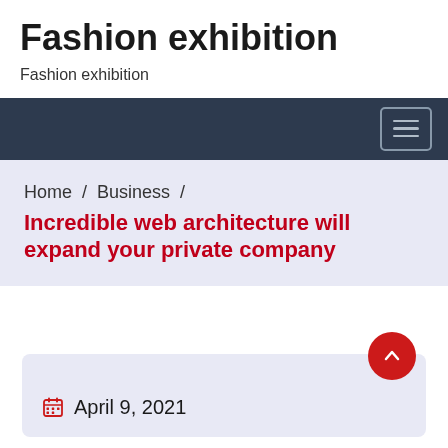Fashion exhibition
Fashion exhibition
[Figure (screenshot): Dark navy navigation bar with hamburger menu button (three horizontal lines) on the right side]
Home / Business / Incredible web architecture will expand your private company
April 9, 2021